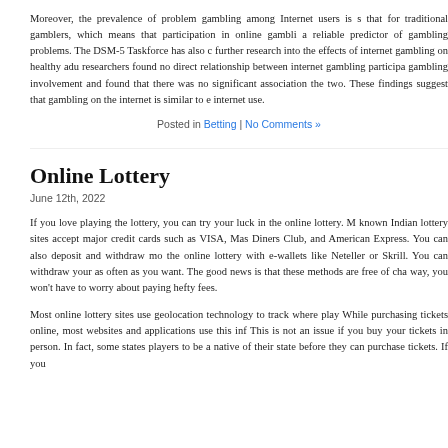Moreover, the prevalence of problem gambling among Internet users is s that for traditional gamblers, which means that participation in online gambli a reliable predictor of gambling problems. The DSM-5 Taskforce has also c further research into the effects of internet gambling on healthy adu researchers found no direct relationship between internet gambling participa gambling involvement and found that there was no significant association the two. These findings suggest that gambling on the internet is similar to e internet use.
Posted in Betting | No Comments »
Online Lottery
June 12th, 2022
If you love playing the lottery, you can try your luck in the online lottery. M known Indian lottery sites accept major credit cards such as VISA, Mas Diners Club, and American Express. You can also deposit and withdraw mo the online lottery with e-wallets like Neteller or Skrill. You can withdraw your as often as you want. The good news is that these methods are free of cha way, you won't have to worry about paying hefty fees.
Most online lottery sites use geolocation technology to track where play While purchasing tickets online, most websites and applications use this inf This is not an issue if you buy your tickets in person. In fact, some states players to be a native of their state before they can purchase tickets. If you